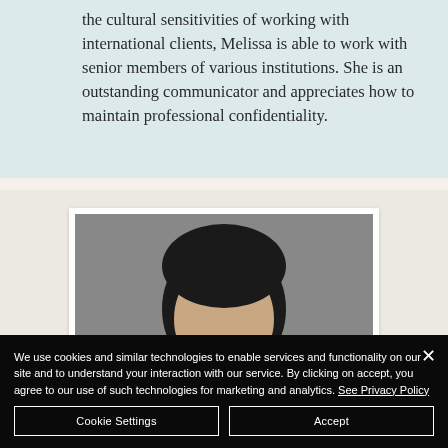the cultural sensitivities of working with international clients, Melissa is able to work with senior members of various institutions. She is an outstanding communicator and appreciates how to maintain professional confidentiality.
[Figure (photo): Portrait photo of a person with dark hair, shown from shoulders up against a grey background, inside a white-bordered frame]
We use cookies and similar technologies to enable services and functionality on our site and to understand your interaction with our service. By clicking on accept, you agree to our use of such technologies for marketing and analytics. See Privacy Policy